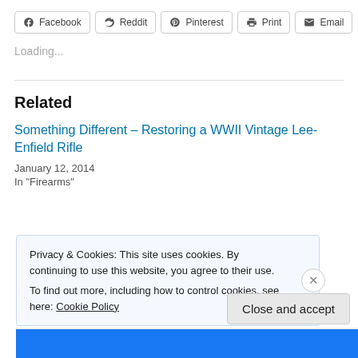[Figure (other): Social share buttons: Facebook, Reddit, Pinterest, Print, Email]
Loading...
Related
Something Different – Restoring a WWII Vintage Lee-Enfield Rifle
January 12, 2014
In "Firearms"
Privacy & Cookies: This site uses cookies. By continuing to use this website, you agree to their use.
To find out more, including how to control cookies, see here: Cookie Policy
Close and accept